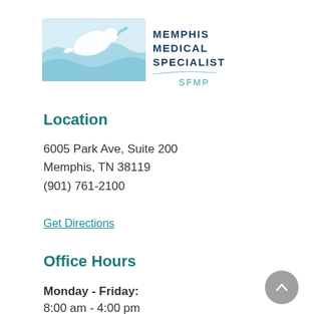[Figure (logo): Memphis Medical Specialists SFMP logo with a dove and wave graphic in light blue, organization name in dark teal text, and SFMP in teal below a decorative line.]
Location
6005 Park Ave, Suite 200
Memphis, TN 38119
(901) 761-2100
Get Directions
Office Hours
Monday - Friday:
8:00 am - 4:00 pm